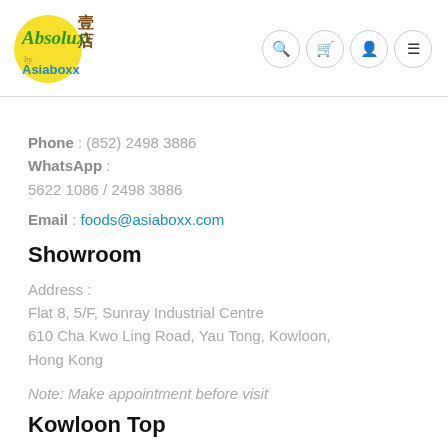[Figure (logo): Absoluxe by Asiaboxx logo with yellow circle, green italic script, Chinese characters, and blue Asiaboxx text]
Phone : (852) 2498 3886
WhatsApp :
5622 1086 / 2498 3886
Email : foods@asiaboxx.com
Showroom
Address :
Flat 8, 5/F, Sunray Industrial Centre
610 Cha Kwo Ling Road, Yau Tong, Kowloon,
Hong Kong
Note: Make appointment before visit
Kowloon Top...